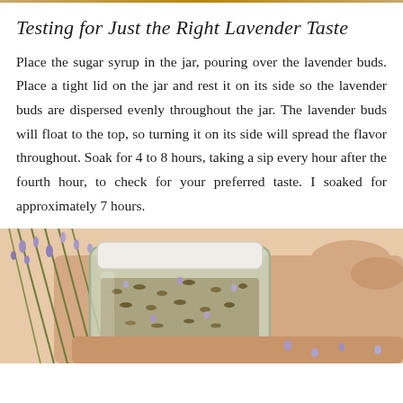Testing for Just the Right Lavender Taste
Place the sugar syrup in the jar, pouring over the lavender buds. Place a tight lid on the jar and rest it on its side so the lavender buds are dispersed evenly throughout the jar. The lavender buds will float to the top, so turning it on its side will spread the flavor throughout. Soak for 4 to 8 hours, taking a sip every hour after the fourth hour, to check for your preferred taste. I soaked for approximately 7 hours.
[Figure (photo): A hand holding a glass jar on its side filled with lavender buds and syrup, with sprigs of fresh lavender alongside the jar.]